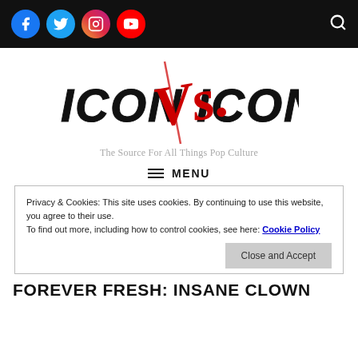Social media icons (Facebook, Twitter, Instagram, YouTube) and search icon navigation bar
[Figure (logo): ICON VS. ICON logo — bold black block letters 'ICON' on left and right, red stylized 'Vs.' script in the center with a dramatic slash]
The Source For All Things Pop Culture
≡ MENU
Privacy & Cookies: This site uses cookies. By continuing to use this website, you agree to their use.
To find out more, including how to control cookies, see here: Cookie Policy
Close and Accept
FOREVER FRESH: INSANE CLOWN